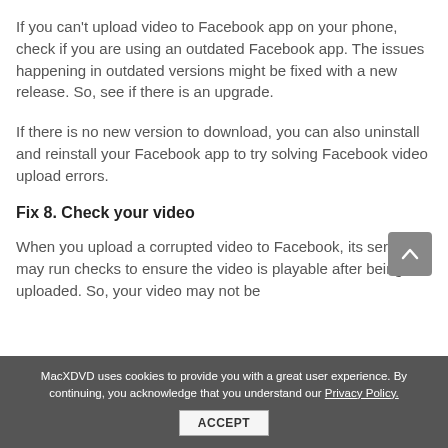If you can't upload video to Facebook app on your phone, check if you are using an outdated Facebook app. The issues happening in outdated versions might be fixed with a new release. So, see if there is an upgrade.
If there is no new version to download, you can also uninstall and reinstall your Facebook app to try solving Facebook video upload errors.
Fix 8. Check your video
When you upload a corrupted video to Facebook, its server may run checks to ensure the video is playable after being uploaded. So, your video may not be
MacXDVD uses cookies to provide you with a great user experience. By continuing, you acknowledge that you understand our Privacy Policy.
ACCEPT